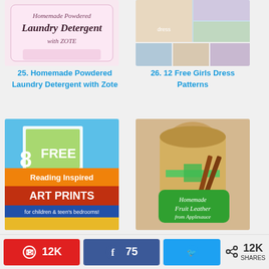[Figure (photo): Homemade Powdered Laundry Detergent with Zote - pink themed image with script text]
25. Homemade Powdered Laundry Detergent with Zote
[Figure (photo): 12 Free Girls Dress Patterns - collage of girl dress photos]
26. 12 Free Girls Dress Patterns
[Figure (photo): 8 FREE Reading Inspired Art Prints for children & teen's bedrooms]
28. FREE Artwork for children & teen's bedrooms!
[Figure (photo): Homemade Fruit Leather from Applesauce - jar with cinnamon sticks and green ribbon]
29. Making Fruit Leather from Applesauce
[Figure (photo): Partial thumbnail - bottom row left]
[Figure (photo): Kitchen Basics: How to ... - partial thumbnail bottom row right]
12K
75
12K SHARES